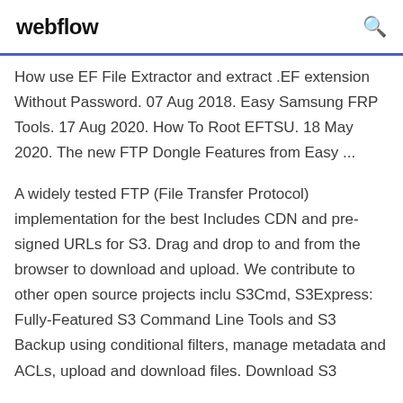webflow
How use EF File Extractor and extract .EF extension Without Password. 07 Aug 2018. Easy Samsung FRP Tools. 17 Aug 2020. How To Root EFTSU. 18 May 2020. The new FTP Dongle Features from Easy ...
A widely tested FTP (File Transfer Protocol) implementation for the best Includes CDN and pre-signed URLs for S3. Drag and drop to and from the browser to download and upload. We contribute to other open source projects inclu S3Cmd, S3Express: Fully-Featured S3 Command Line Tools and S3 Backup using conditional filters, manage metadata and ACLs, upload and download files. Download S3